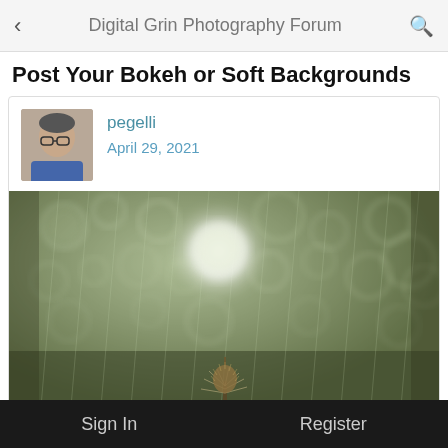Digital Grin Photography Forum
Post Your Bokeh or Soft Backgrounds
pegelli
April 29, 2021
[Figure (photo): Close-up nature photo with a subject (possibly a plant bud or small creature) in the foreground against a heavily blurred bokeh background of soft circular light shapes in muted green and white tones.]
Sign In    Register